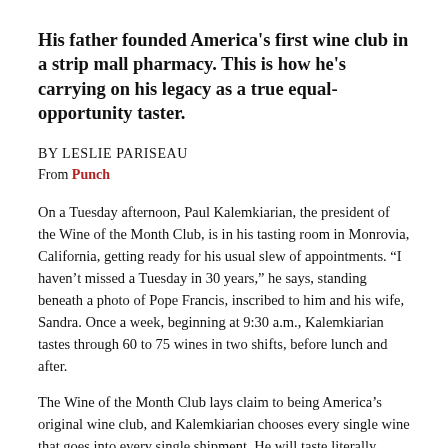His father founded America's first wine club in a strip mall pharmacy. This is how he's carrying on his legacy as a true equal-opportunity taster.
BY LESLIE PARISEAU
From Punch
On a Tuesday afternoon, Paul Kalemkiarian, the president of the Wine of the Month Club, is in his tasting room in Monrovia, California, getting ready for his usual slew of appointments. “I haven’t missed a Tuesday in 30 years,” he says, standing beneath a photo of Pope Francis, inscribed to him and his wife, Sandra. Once a week, beginning at 9:30 a.m., Kalemkiarian tastes through 60 to 75 wines in two shifts, before lunch and after.
The Wine of the Month Club lays claim to being America’s original wine club, and Kalemkiarian chooses every single wine that goes into every single shipment. He will taste literally everything that comes his way, “flavored prosecco to high-end Napa,” he says. For better or worse, he may have the most educated palate in America.
Kalemkiarian’s tasting room, which sits behind a retail store and warehouse, resembles a doctor’s office without the examination table. The countertops are covered in dozens of opened wine bottles